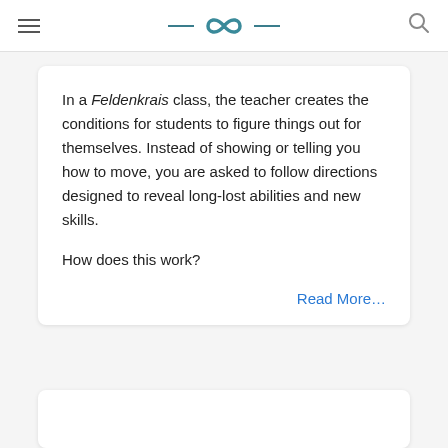≡  — ∞ —  🔍
In a Feldenkrais class, the teacher creates the conditions for students to figure things out for themselves. Instead of showing or telling you how to move, you are asked to follow directions designed to reveal long-lost abilities and new skills.

How does this work?
Read More…